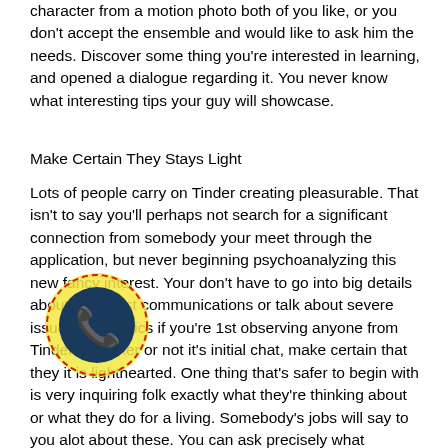character from a motion photo both of you like, or you don't accept the ensemble and would like to ask him the needs. Discover some thing you're interested in learning, and opened a dialogue regarding it. You never know what interesting tips your guy will showcase.
Make Certain They Stays Light
Lots of people carry on Tinder creating pleasurable. That isn't to say you'll perhaps not search for a significant connection from somebody your meet through the application, but never beginning psychoanalyzing this new fancy interest. Your don't have to go into big details about your past communications or talk about severe issues like politics if you're 1st observing anyone from Tinder. Whether or not it's initial chat, make certain that they it is lighthearted. One thing that's safer to begin with is very inquiring folk exactly what they're thinking about or what they do for a living. Somebody's jobs will say to you alot about these. You can ask precisely what generated these wanna go into that region or if perhaps perhaps which they just like the factors they're starting. They selected unique tasks for reasons, so you're able to inquire
[Figure (logo): Phone/call icon: dark blue circle with white telephone handset, surrounded by a red dashed circular border, on a yellow background circle]